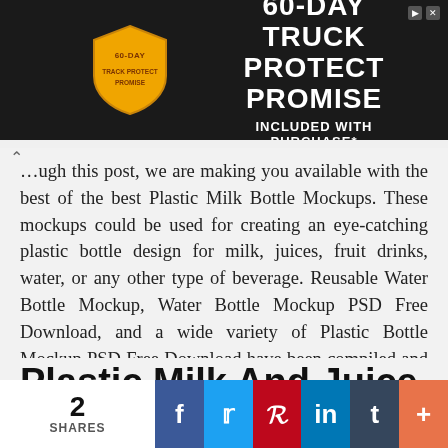[Figure (screenshot): Advertisement banner: 60-Day Truck Protect Promise, Included With Purchase*. Dark background with shield logo and bold white text.]
...ugh this post, we are making you available with the best of the best Plastic Milk Bottle Mockups. These mockups could be used for creating an eye-catching plastic bottle design for milk, juices, fruit drinks, water, or any other type of beverage. Reusable Water Bottle Mockup, Water Bottle Mockup PSD Free Download, and a wide variety of Plastic Bottle Mockup PSD Free Download have been compiled and gathered by us in this collection for you to choose from.
Plastic Milk And Juice Bottle Mockup
2 SHARES